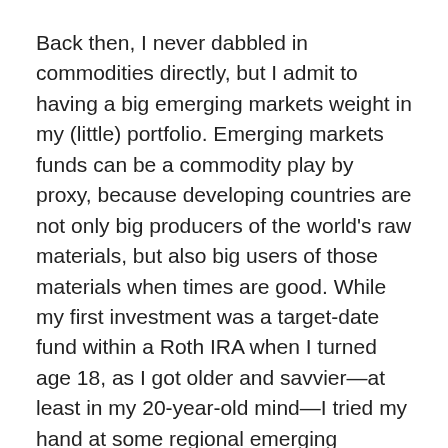Back then, I never dabbled in commodities directly, but I admit to having a big emerging markets weight in my (little) portfolio. Emerging markets funds can be a commodity play by proxy, because developing countries are not only big producers of the world's raw materials, but also big users of those materials when times are good. While my first investment was a target-date fund within a Roth IRA when I turned age 18, as I got older and savvier—at least in my 20-year-old mind—I tried my hand at some regional emerging markets exchange-traded funds.
Those did well for a time, thanks to the boom in commodity prices. Oil surged from below $30